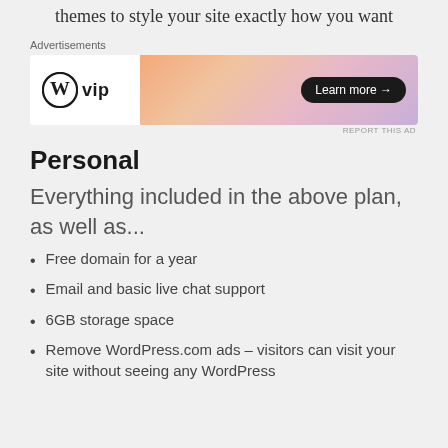Dozens of free themes – professionally designed themes to style your site exactly how you want
Advertisements
[Figure (screenshot): WordPress VIP advertisement banner with gradient orange-pink background and 'Learn more →' button]
Personal
Everything included in the above plan, as well as...
Free domain for a year
Email and basic live chat support
6GB storage space
Remove WordPress.com ads – visitors can visit your site without seeing any WordPress